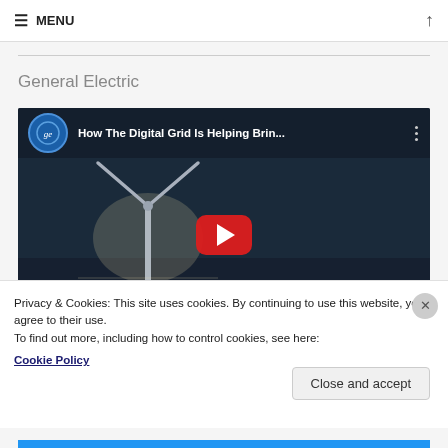≡ MENU
General Electric
[Figure (screenshot): YouTube video thumbnail for 'How The Digital Grid Is Helping Brin...' by General Electric, showing offshore wind turbines with a YouTube play button overlay.]
Privacy & Cookies: This site uses cookies. By continuing to use this website, you agree to their use.
To find out more, including how to control cookies, see here:
Cookie Policy
Close and accept